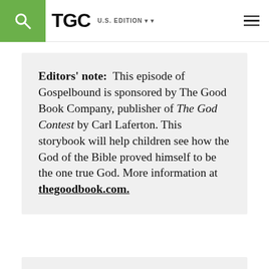TGC U.S. EDITION
Editors' note: This episode of Gospelbound is sponsored by The Good Book Company, publisher of The God Contest by Carl Laferton. This storybook will help children see how the God of the Bible proved himself to be the one true God. More information at thegoodbook.com.